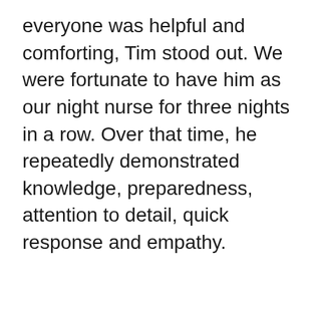everyone was helpful and comforting, Tim stood out. We were fortunate to have him as our night nurse for three nights in a row. Over that time, he repeatedly demonstrated knowledge, preparedness, attention to detail, quick response and empathy.